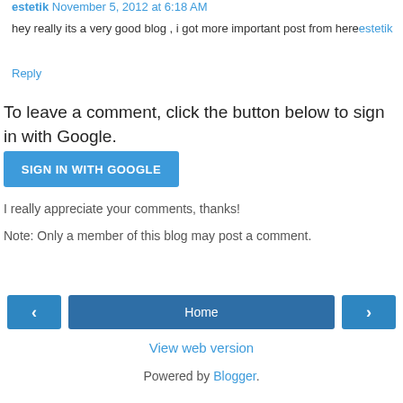estetik  November 5, 2012 at 6:18 AM
hey really its a very good blog , i got more important post from hereestetik
Reply
To leave a comment, click the button below to sign in with Google.
[Figure (other): Blue button labeled SIGN IN WITH GOOGLE]
I really appreciate your comments, thanks!
Note: Only a member of this blog may post a comment.
[Figure (other): Navigation bar with left arrow button, Home button, and right arrow button]
View web version
Powered by Blogger.